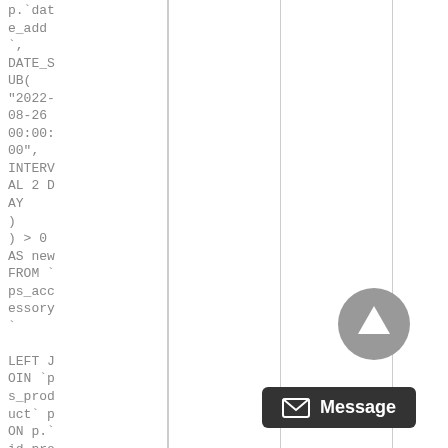p.`date_add`, DATE_SUB("2022-08-26 00:00:00", INTERVAL 2 DAY
) ) > 0 AS new FROM `ps_accessory`

LEFT JOIN `ps_product` p ON p.`id_product` = `id
[Figure (other): Scroll-to-top circular button (grey) and a 'Message' dark rounded button with envelope icon, overlaid on the right side of the page]